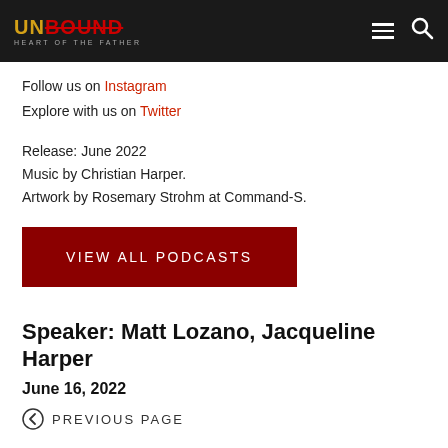UNBOUND HEART OF THE FATHER
Follow us on Instagram
Explore with us on Twitter
Release: June 2022
Music by Christian Harper.
Artwork by Rosemary Strohm at Command-S.
VIEW ALL PODCASTS
Speaker: Matt Lozano, Jacqueline Harper
June 16, 2022
PREVIOUS PAGE